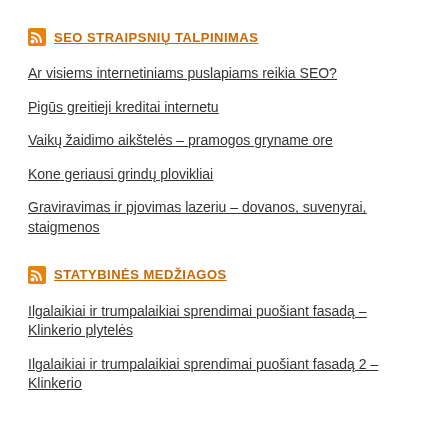SEO STRAIPSNIŲ TALPINIMAS
Ar visiems internetiniams puslapiams reikia SEO?
Pigūs greitieji kreditai internetu
Vaikų žaidimo aikštelės – pramogos gryname ore
Kone geriausi grindų plovikliai
Graviravimas ir pjovimas lazeriu – dovanos, suvenyrai, staigmenos
STATYBINĖS MEDŽIAGOS
Ilgalaikiai ir trumpalaikiai sprendimai puošiant fasadą – Klinkerio plytelės
Ilgalaikiai ir trumpalaikiai sprendimai puošiant fasadą 2 – Klinkerio